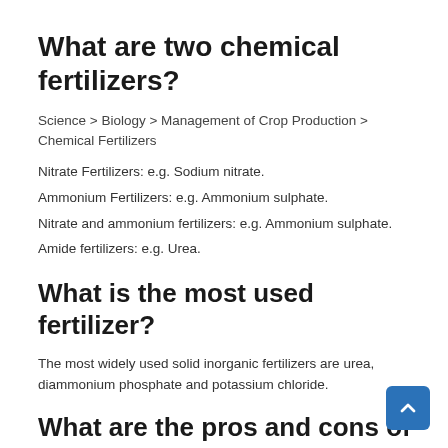What are two chemical fertilizers?
Science > Biology > Management of Crop Production > Chemical Fertilizers
Nitrate Fertilizers: e.g. Sodium nitrate.
Ammonium Fertilizers: e.g. Ammonium sulphate.
Nitrate and ammonium fertilizers: e.g. Ammonium sulphate.
Amide fertilizers: e.g. Urea.
What is the most used fertilizer?
The most widely used solid inorganic fertilizers are urea, diammonium phosphate and potassium chloride.
What are the pros and cons of